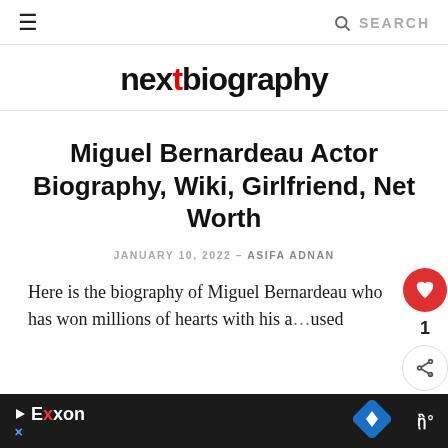≡   🔍 SEARCH
nextbiography
Miguel Bernardeau Actor Biography, Wiki, Girlfriend, Net Worth
JANUARY 10, 2022 – ASIFA ADNAN
Here is the biography of Miguel Bernardeau who has won millions of hearts with his a... (used
[Figure (other): Ad bar at bottom showing Exxon logo, blue navigation diamond icon, and WPP logo on dark background]